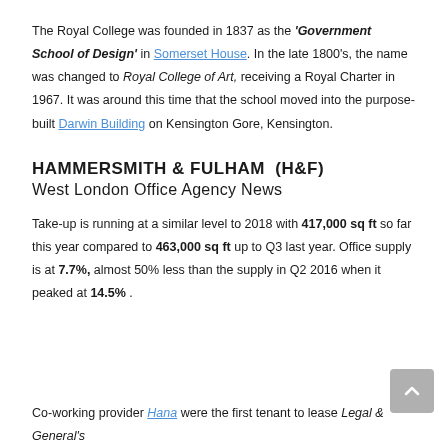The Royal College was founded in 1837 as the ‘Government School of Design’ in Somerset House. In the late 1800’s, the name was changed to Royal College of Art, receiving a Royal Charter in 1967. It was around this time that the school moved into the purpose-built Darwin Building on Kensington Gore, Kensington.
HAMMERSMITH & FULHAM (H&F)
West London Office Agency News
Take-up is running at a similar level to 2018 with 417,000 sq ft so far this year compared to 463,000 sq ft up to Q3 last year. Office supply is at 7.7%, almost 50% less than the supply in Q2 2016 when it peaked at 14.5%.
Co-working provider Hana were the first tenant to lease Legal & General’s